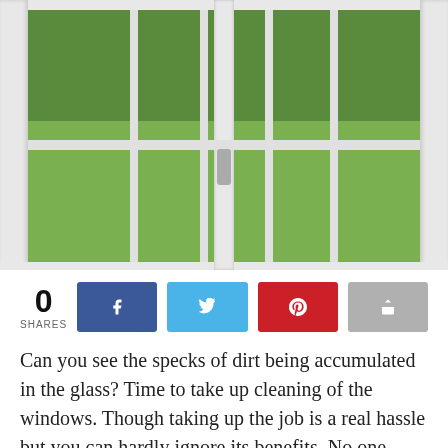[Figure (photo): View through white-framed double window looking out onto green lawn and trees]
0 SHARES
Can you see the specks of dirt being accumulated in the glass? Time to take up cleaning of the windows. Though taking up the job is a real hassle but you can hardly ignore its benefits. No one wants to take up that chore on the weekends, when you know it will take up lots of time, not to